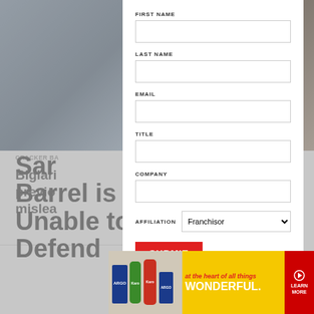[Figure (screenshot): Website screenshot showing a modal form overlay on top of an article page. The background shows two photos of restaurant workers and partial article text about Cracker Barrel. The modal contains a registration form with fields for First Name, Last Name, Email, Title, Company, and Affiliation (dropdown set to Franchisor), plus a red Submit button. At the bottom is a yellow advertisement banner for Argo/Karo products reading 'at the heart of all things WONDERFUL.']
FIRST NAME
LAST NAME
EMAIL
TITLE
COMPANY
AFFILIATION
SUBMIT
CRACKER BA
Biglari
previo
mislea
Sar
Barrel is Unable to Defend
at the heart of all things
WONDERFUL.
LEARN MORE